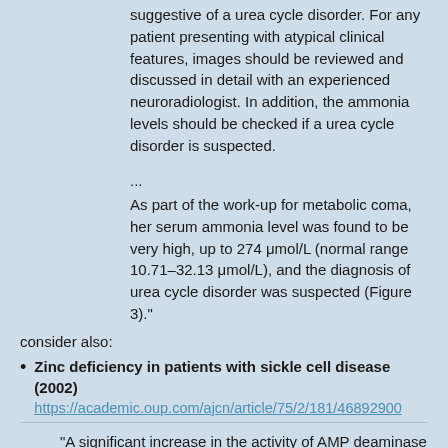suggestive of a urea cycle disorder. For any patient presenting with atypical clinical features, images should be reviewed and discussed in detail with an experienced neuroradiologist. In addition, the ammonia levels should be checked if a urea cycle disorder is suspected.
...
As part of the work-up for metabolic coma, her serum ammonia level was found to be very high, up to 274 μmol/L (normal range 10.71–32.13 μmol/L), and the diagnosis of urea cycle disorder was suspected (Figure 3)."
consider also:
Zinc deficiency in patients with sickle cell disease (2002)
https://academic.oup.com/ajcn/article/75/2/181/4689290
"A significant increase in the activity of AMP deaminase—an enzyme involved in the purine